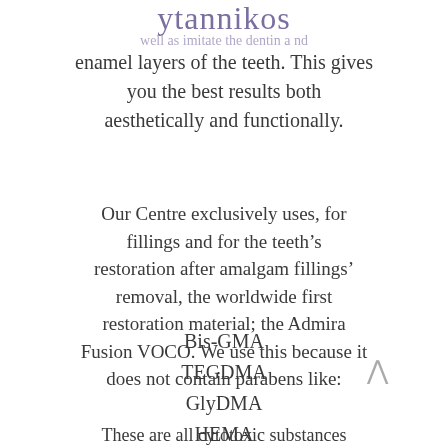ytannikos
well as imitate the dentin a nd
enamel layers of the teeth. This gives you the best results both aesthetically and functionally.
Our Centre exclusively uses, for fillings and for the teeth’s restoration after amalgam fillings’ removal, the worldwide first restoration material; the Admira Fusion VOCO. We use this because it does not contain parabens like:
Bis-GMA
TEGDMA
GlyDMA
HEMA
These are all cytotoxic substances